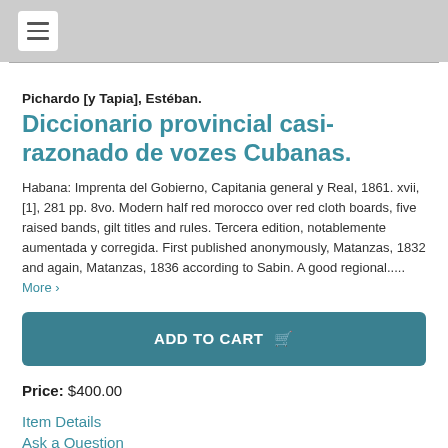≡
Pichardo [y Tapia], Estéban.
Diccionario provincial casi-razonado de vozes Cubanas.
Habana: Imprenta del Gobierno, Capitania general y Real, 1861. xvii, [1], 281 pp. 8vo. Modern half red morocco over red cloth boards, five raised bands, gilt titles and rules. Tercera edition, notablemente aumentada y corregida. First published anonymously, Matanzas, 1832 and again, Matanzas, 1836 according to Sabin. A good regional..... More ›
ADD TO CART
Price: $400.00
Item Details
Ask a Question